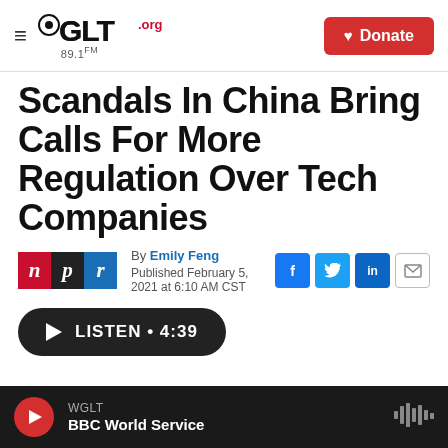WGLT.org 89.1FM | Donate
Scandals In China Bring Calls For More Regulation Over Tech Companies
By Emily Feng
Published February 5, 2021 at 6:10 AM CST
LISTEN • 4:39
WGLT
BBC World Service